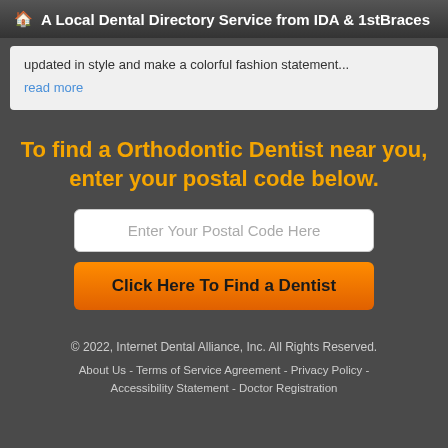A Local Dental Directory Service from IDA & 1stBraces
updated in style and make a colorful fashion statement...
read more
To find a Orthodontic Dentist near you, enter your postal code below.
Enter Your Postal Code Here
Click Here To Find a Dentist
© 2022, Internet Dental Alliance, Inc. All Rights Reserved.
About Us - Terms of Service Agreement - Privacy Policy - Accessibility Statement - Doctor Registration